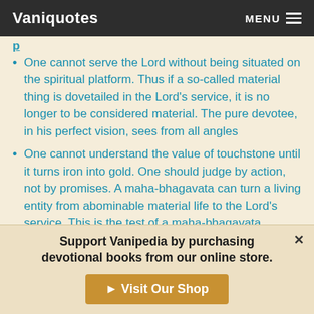Vaniquotes | MENU
One cannot serve the Lord without being situated on the spiritual platform. Thus if a so-called material thing is dovetailed in the Lord's service, it is no longer to be considered material. The pure devotee, in his perfect vision, sees from all angles
One cannot understand the value of touchstone until it turns iron into gold. One should judge by action, not by promises. A maha-bhagavata can turn a living entity from abominable material life to the Lord's service. This is the test of a maha-bhagavata
Support Vanipedia by purchasing devotional books from our online store.
Visit Our Shop